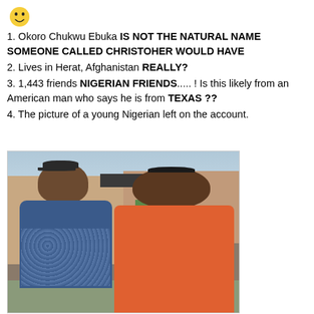[Figure (illustration): Small yellow/orange icon in top left corner]
1. Okoro Chukwu Ebuka IS NOT THE NATURAL NAME SOMEONE CALLED CHRISTOHER WOULD HAVE
2. Lives in Herat, Afghanistan REALLY?
3. 1,443 friends NIGERIAN FRIENDS..... ! Is this likely from an American man who says he is from TEXAS ??
4. The picture of a young Nigerian left on the account.
[Figure (photo): Photo of two young Nigerian men outdoors in front of a brick building. The man on the left wears a dark cap and a patterned blue shirt; the man on the right wears an orange shirt with a distinctive haircut.]